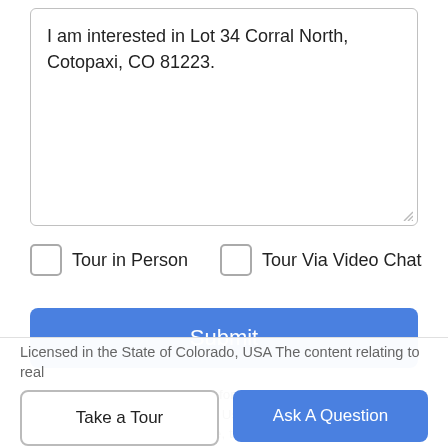I am interested in Lot 34 Corral North, Cotopaxi, CO 81223.
Tour in Person
Tour Via Video Chat
Submit
Disclaimer: By entering your information and submitting this form, you agree to our Terms of Use and Privacy Policy and that you may be contacted by phone, text message and email about your inquiry.
Licensed in the State of Colorado, USA The content relating to real
Take a Tour
Ask A Question